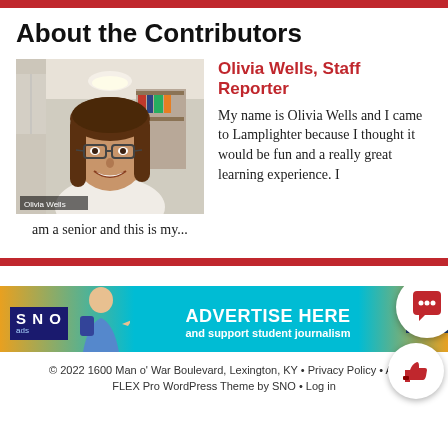About the Contributors
[Figure (photo): Photo of Olivia Wells, a young woman with long brown hair and glasses, smiling, in a video call screenshot. Label 'Olivia Wells' in bottom left corner.]
Olivia Wells, Staff Reporter
My name is Olivia Wells and I came to Lamplighter because I thought it would be fun and a really great learning experience. I am a senior and this is my...
[Figure (infographic): SNO Ads advertisement banner: 'ADVERTISE HERE and support student journalism' with GET S[TARTED] button and chat bubble icon]
© 2022 1600 Man o' War Boulevard, Lexington, KY • Privacy Policy • Ad FLEX Pro WordPress Theme by SNO • Log in